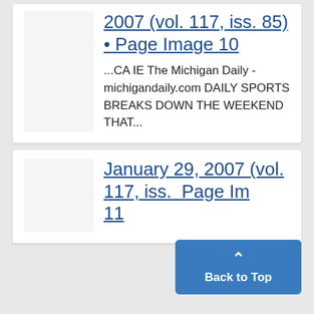2007 (vol. 117, iss. 85) • Page Image 10
...CA IE The Michigan Daily - michigandaily.com DAILY SPORTS BREAKS DOWN THE WEEKEND THAT...
January 29, 2007 (vol. 117, iss. … Page Image 11